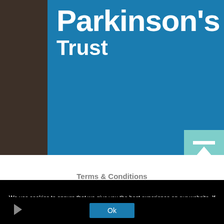[Figure (logo): Parkinson's Trust logo — white bold text 'Parkinson's' and 'Trust' on a blue background, set within a dark brown/charcoal background]
Terms & Conditions   Data & Privacy Policy   Sitemap   Cookies   About us
We use cookies to ensure that we give you the best experience on our website. If you continue to use this site we will assume that you are happy with it.